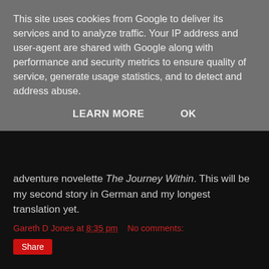This site uses cookies from Google to deliver its services and to analyze traffic. Your IP address and user-agent are shared with Google along with performance and security metrics to ensure quality of service, generate usage statistics, and to detect and address abuse.
LEARN MORE   OK
adventure novelette The Journey Within. This will be my second story in German and my longest translation yet.
Gareth D Jones at 8:35 pm   No comments:
Share
Friday, February 26, 2016
Book Review: Barsk: The Elephant's Graveyard by Lawrence M. Schoen
Some time ago I dreamt that the new issue of 'Interzone' featured on the cover a story about giraffes in space. When I